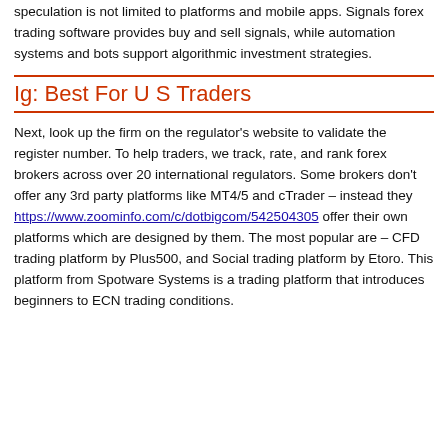speculation is not limited to platforms and mobile apps. Signals forex trading software provides buy and sell signals, while automation systems and bots support algorithmic investment strategies.
Ig: Best For U S Traders
Next, look up the firm on the regulator's website to validate the register number. To help traders, we track, rate, and rank forex brokers across over 20 international regulators. Some brokers don't offer any 3rd party platforms like MT4/5 and cTrader – instead they https://www.zoominfo.com/c/dotbigcom/542504305 offer their own platforms which are designed by them. The most popular are – CFD trading platform by Plus500, and Social trading platform by Etoro. This platform from Spotware Systems is a trading platform that introduces beginners to ECN trading conditions.